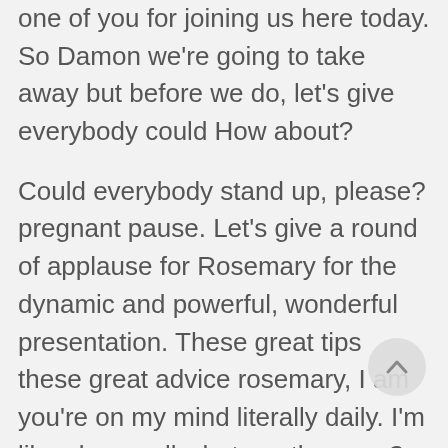one of you for joining us here today. So Damon we're going to take away but before we do, let's give everybody could How about?
Could everybody stand up, please? pregnant pause. Let's give a round of applause for Rosemary for the dynamic and powerful, wonderful presentation. These great tips these great advice rosemary, I am you're on my mind literally daily. I'm like okay, well what are the rows? It's like, almost like what would Rosemary tell me to do right now. So anyway, with that, we're gonna close it out guys. God bless everybody out there. Thank you keep crushing it. This guy. So first off think this person is wonderful, beautiful soul here. And then let's thank